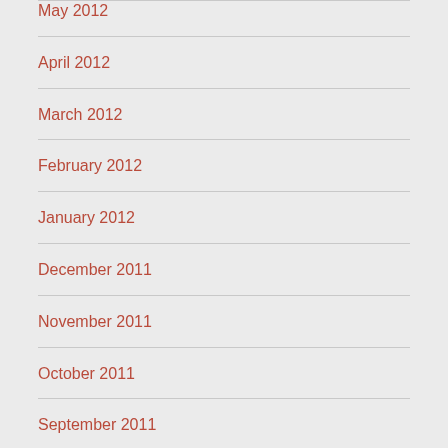May 2012
April 2012
March 2012
February 2012
January 2012
December 2011
November 2011
October 2011
September 2011
August 2011